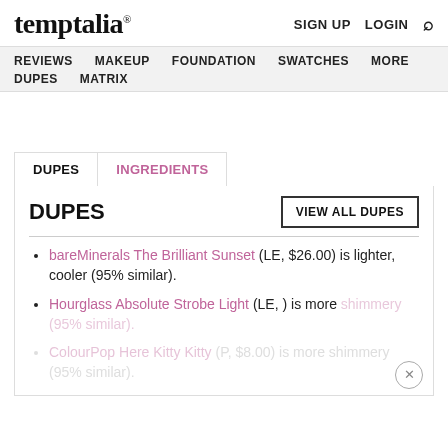temptalia® SIGN UP LOGIN [search]
REVIEWS MAKEUP FOUNDATION SWATCHES MORE DUPES MATRIX
DUPES
bareMinerals The Brilliant Sunset (LE, $26.00) is lighter, cooler (95% similar).
Hourglass Absolute Strobe Light (LE, ) is more shimmery (95% similar).
ColourPop Here Kitty Kitty (P, $8.00) is more shimmery (95% similar).